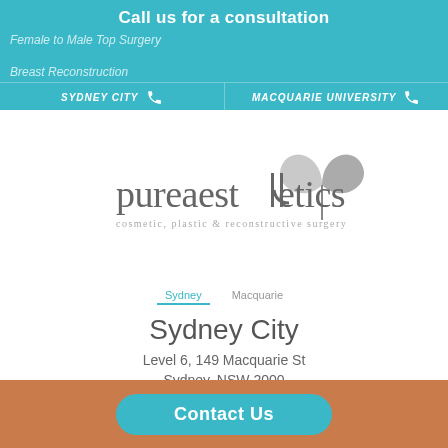Call us for a consultation
Female to Male Top Surgery
Breast Reconstruction
SYDNEY CITY
MACQUARIE UNIVERSITY
[Figure (logo): Pureaesthetics logo — cosmetic, plastic & reconstructive surgery — with a leaf/butterfly design mark]
Sydney   Macquarie
Sydney City
Level 6, 149 Macquarie St
Sydney, NSW 2000
02 9252 9262
Contact Us